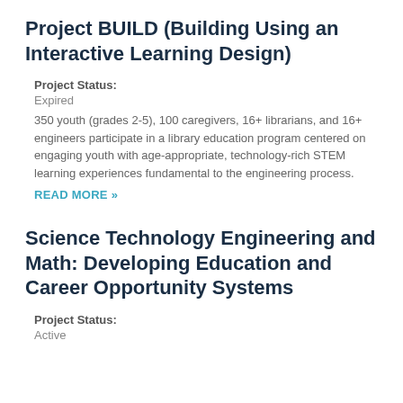Project BUILD (Building Using an Interactive Learning Design)
Project Status:
Expired
350 youth (grades 2-5), 100 caregivers, 16+ librarians, and 16+ engineers participate in a library education program centered on engaging youth with age-appropriate, technology-rich STEM learning experiences fundamental to the engineering process.
READ MORE »
Science Technology Engineering and Math: Developing Education and Career Opportunity Systems
Project Status:
Active